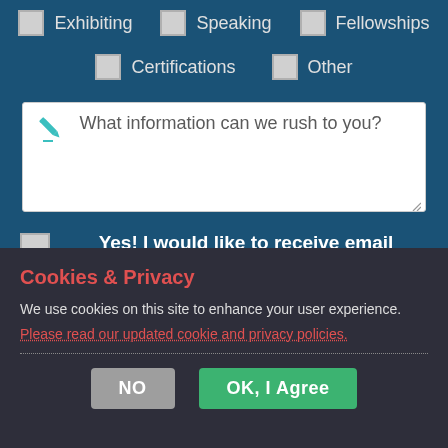Exhibiting
Speaking
Fellowships
Certifications
Other
What information can we rush to you?
Yes! I would like to receive email updates about your products & services, promotions, special officers, news and events.
Cookies & Privacy
We use cookies on this site to enhance your user experience.
Please read our updated cookie and privacy policies.
NO
OK, I Agree